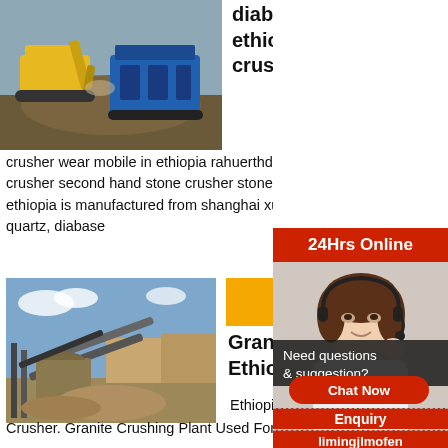[Figure (photo): Yellow excavator and blue mobile crushing plant machinery at a construction/mining site]
diabase crusher in ethiopia jym stone crusher plant
crusher wear mobile in ethiopia rahuerthde We have Second Hand And Mobile Crushing Plants In EthiopiaUsed stone crusher second hand stone crusher stone crusher machine for sale in ethiopia stone crusher machine for sale in ethiopia is manufactured from shanghai xuanshiit is the main mineral used stone with low basalt, andesite, iron ore, quartz, diabase
[Figure (photo): Granite mining/crushing plant with conveyor belts and machinery at an open site]
Re
Granite Mini... Ethiopia
Ethiopia Marble A... Crusher. Granite Crushing Plant Used For Sale Et... Granite Crusher Machine, New Designed 800tph
[Figure (photo): Customer service representative with headset - 24Hrs Online sidebar widget]
24Hrs Online
Need questions & suggestion?
Chat Now
Enquiry
limingjlmofen